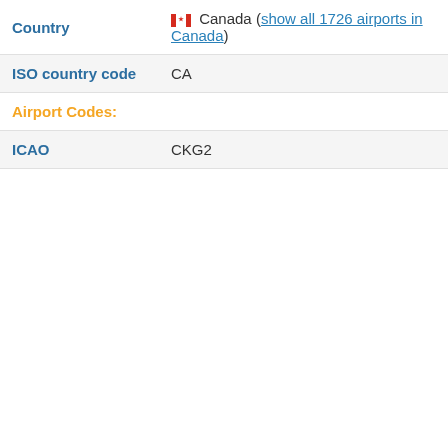| Field | Value |
| --- | --- |
| Country | 🇨🇦 Canada (show all 1726 airports in Canada) |
| ISO country code | CA |
| Airport Codes: |  |
| ICAO | CKG2 |